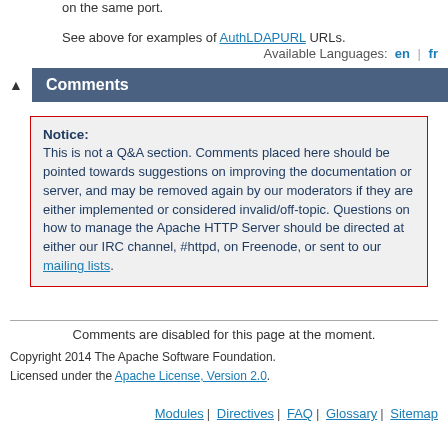See above for examples of AuthLDAPURL URLs.
Available Languages: en | fr
Comments
Notice:
This is not a Q&A section. Comments placed here should be pointed towards suggestions on improving the documentation or server, and may be removed again by our moderators if they are either implemented or considered invalid/off-topic. Questions on how to manage the Apache HTTP Server should be directed at either our IRC channel, #httpd, on Freenode, or sent to our mailing lists.
Comments are disabled for this page at the moment.
Copyright 2014 The Apache Software Foundation. Licensed under the Apache License, Version 2.0.
Modules | Directives | FAQ | Glossary | Sitemap